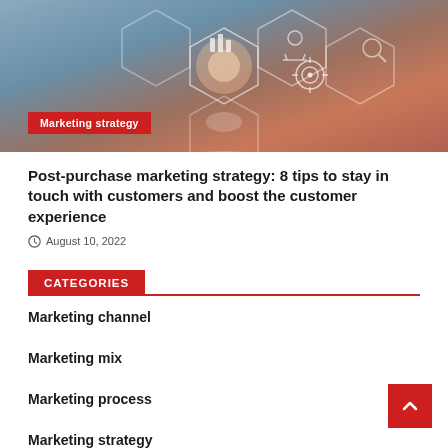[Figure (photo): Hero image showing a hand touching a glowing hexagonal interface with marketing and business icons (charts, target, people, search icons). A red badge reads 'Marketing strategy'.]
Post-purchase marketing strategy: 8 tips to stay in touch with customers and boost the customer experience
August 10, 2022
CATEGORIES
Marketing channel
Marketing mix
Marketing process
Marketing strategy